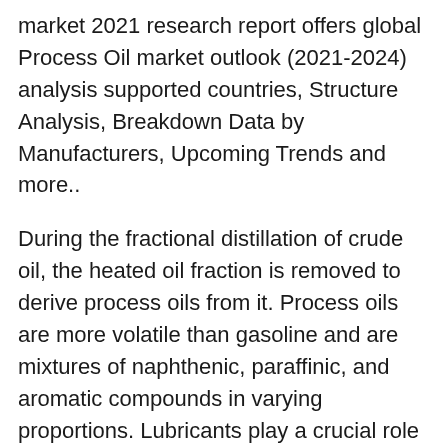market 2021 research report offers global Process Oil market outlook (2021-2024) analysis supported countries, Structure Analysis, Breakdown Data by Manufacturers, Upcoming Trends and more..
During the fractional distillation of crude oil, the heated oil fraction is removed to derive process oils from it. Process oils are more volatile than gasoline and are mixtures of naphthenic, paraffinic, and aromatic compounds in varying proportions. Lubricants play a crucial role in sectors such as automotive, aviation, manufacturing, and marine. They are used for the maintenance of both new and old machines and equipment to reduce friction, which